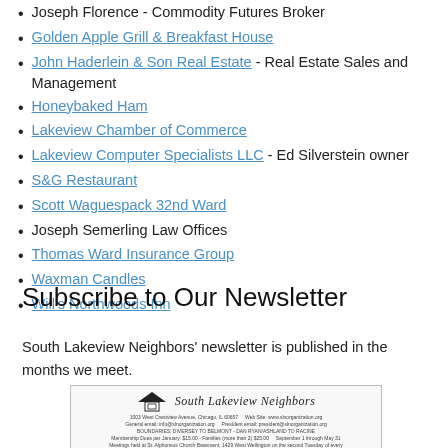Joseph Florence - Commodity Futures Broker
Golden Apple Grill & Breakfast House
John Haderlein & Son Real Estate - Real Estate Sales and Management
Honeybaked Ham
Lakeview Chamber of Commerce
Lakeview Computer Specialists LLC - Ed Silverstein owner
S&G Restaurant
Scott Waguespack 32nd Ward
Joseph Semerling Law Offices
Thomas Ward Insurance Group
Waxman Candles
Will's Northwoods Inn
Subscribe to Our Newsletter
South Lakeview Neighbors' newsletter is published in the months we meet.
[Figure (other): South Lakeview Neighbors newsletter header image with logo and contact/meeting information]